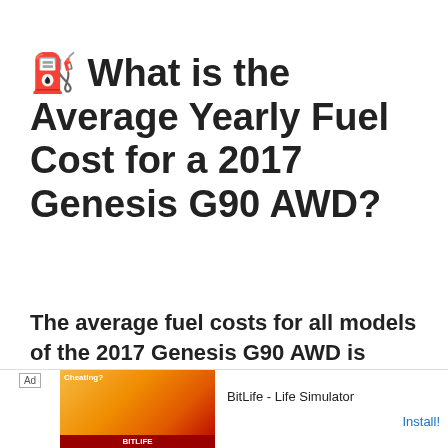⛽ What is the Average Yearly Fuel Cost for a 2017 Genesis G90 AWD?
The average fuel costs for all models of the 2017 Genesis G90 AWD is $3,900.
[Figure (screenshot): Advertisement banner for BitLife - Life Simulator app with orange/red background showing a muscular arm graphic and BitLife logo pill graphic.]